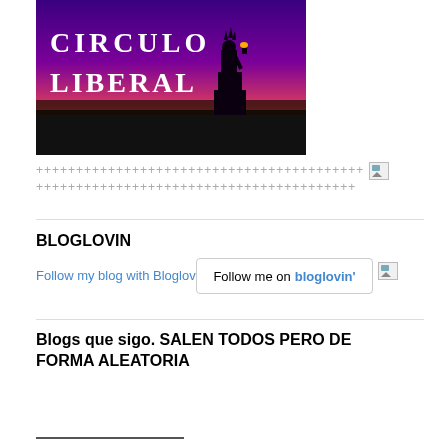[Figure (illustration): Circulo Liberal blog header image showing Statue of Liberty silhouette against a purple and orange sunset sky, with white bold text reading CIRCULO LIBERAL]
++++++++++++++++++++++++++++++++++++++++ [broken image]
++++++++++++++++++++++++++++++++++++++++
BLOGLOVIN
Follow my blog with Bloglovin
[Figure (screenshot): Follow me on bloglovin button]
Blogs que sigo. SALEN TODOS PERO DE FORMA ALEATORIA